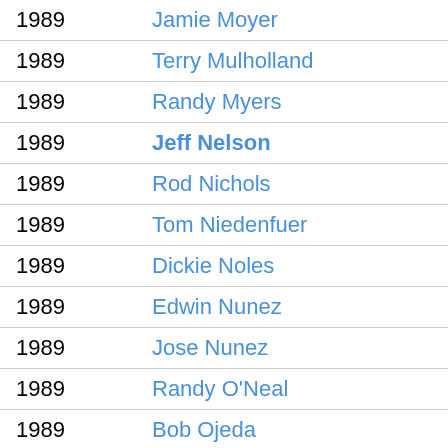| Year | Name | Age |
| --- | --- | --- |
| 1989 | Jamie Moyer | 27 |
| 1989 | Terry Mulholland | 26 |
| 1989 | Randy Myers | 27 |
| 1989 | Jeff Nelson | 23 |
| 1989 | Rod Nichols | 26 |
| 1989 | Tom Niedenfuer | 30 |
| 1989 | Dickie Noles | 33 |
| 1989 | Edwin Nunez | 26 |
| 1989 | Jose Nunez | 25 |
| 1989 | Randy O'Neal | 29 |
| 1989 | Bob Ojeda | 32 |
| 1989 | Francisco Oliveras | 26 |